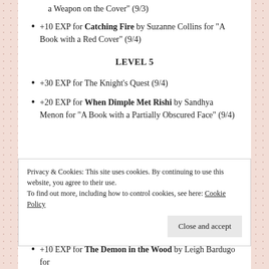a Weapon on the Cover" (9/3)
+10 EXP for Catching Fire by Suzanne Collins for "A Book with a Red Cover" (9/4)
LEVEL 5
+30 EXP for The Knight's Quest (9/4)
+20 EXP for When Dimple Met Rishi by Sandhya Menon for "A Book with a Partially Obscured Face" (9/4)
Privacy & Cookies: This site uses cookies. By continuing to use this website, you agree to their use.
To find out more, including how to control cookies, see here: Cookie Policy
+10 EXP for The Demon in the Wood by Leigh Bardugo for